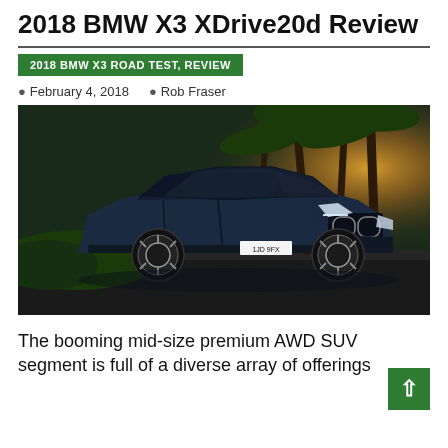2018 BMW X3 XDrive20d Review
2018 BMW X3 ROAD TEST, REVIEW
February 4, 2018   Rob Fraser
[Figure (photo): 2018 BMW X3 XDrive20d in dark blue/grey parked outdoors with palm trees and sunlight in the background. License plate reads 1JD 9FX.]
The booming mid-size premium AWD SUV segment is full of a diverse array of offerings from almost all manufacturers that...